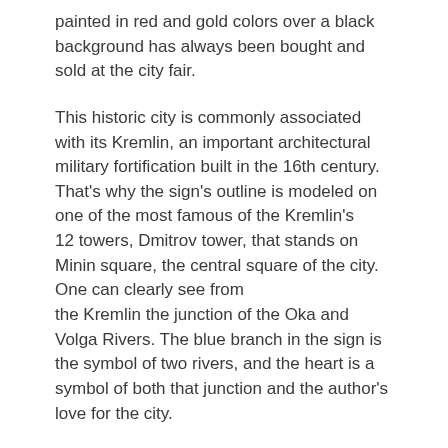painted in red and gold colors over a black background has always been bought and sold at the city fair.
This historic city is commonly associated with its Kremlin, an important architectural military fortification built in the 16th century. That's why the sign's outline is modeled on one of the most famous of the Kremlin's 12 towers, Dmitrov tower, that stands on Minin square, the central square of the city. One can clearly see from the Kremlin the junction of the Oka and Volga Rivers. The blue branch in the sign is the symbol of two rivers, and the heart is a symbol of both that junction and the author's love for the city.
The deer was borrowed from the coat of arms, and the Russian Venus can be seen in the art museum. The display face and the artwork style were influenced by the work of Tatiana Mavrina, an artist from Nizhny Novgorod.
The project turned out to be a kind of a set of pieces that can be assembled in different ways. We can change the scale, deliberately enlarge ornamental parts of the sign (it can be called Macro-Khokhloma). We can play on a single image or totally deconstruct it.